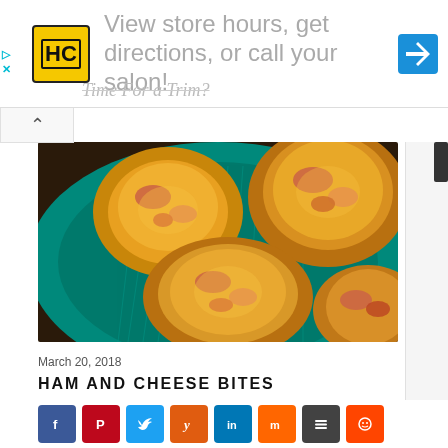[Figure (infographic): Advertisement banner with HC logo, navigation arrow icon, and text: 'View store hours, get directions, or call your salon!' and 'Time For a Trim?']
[Figure (photo): Close-up photo of ham and cheese bites (mini quiche/pastry cups) with melted cheese and ham pieces, served on a teal/turquoise decorative plate on a dark background]
March 20, 2018
HAM AND CHEESE BITES
[Figure (infographic): Row of 8 social media share buttons: Facebook (blue), Pinterest (red), Twitter (light blue), Yummly (orange), LinkedIn (dark blue), Mix (orange), Buffer (dark gray), Reddit (orange-red)]